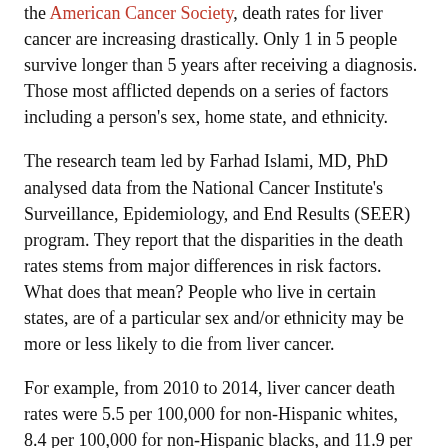the American Cancer Society, death rates for liver cancer are increasing drastically. Only 1 in 5 people survive longer than 5 years after receiving a diagnosis. Those most afflicted depends on a series of factors including a person's sex, home state, and ethnicity.
The research team led by Farhad Islami, MD, PhD analysed data from the National Cancer Institute's Surveillance, Epidemiology, and End Results (SEER) program. They report that the disparities in the death rates stems from major differences in risk factors. What does that mean? People who live in certain states, are of a particular sex and/or ethnicity may be more or less likely to die from liver cancer.
For example, from 2010 to 2014, liver cancer death rates were 5.5 per 100,000 for non-Hispanic whites, 8.4 per 100,000 for non-Hispanic blacks, and 11.9 per 100,000 for American Indian/Alaska Natives.